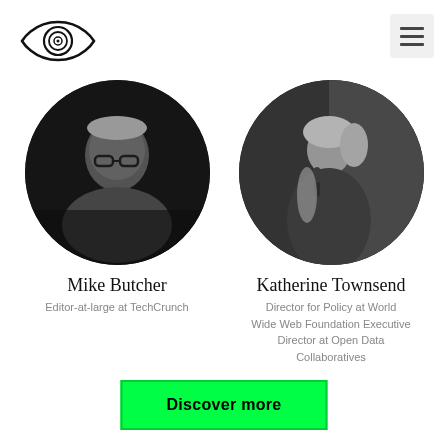[Figure (logo): Eye/lens logo icon - circle with eye and concentric rings inside]
[Figure (illustration): Navigation hamburger menu icon - three horizontal lines on grey background]
[Figure (photo): Black and white circular portrait photo of Mike Butcher, a man with glasses and grey hair in a contemplative pose]
Mike Butcher
Editor-at-large at TechCrunch
[Figure (photo): Black and white circular portrait photo of Katherine Townsend, a woman speaking with a microphone]
Katherine Townsend
Director for Policy at World Wide Web Foundation Executive Director at Open Data Collaboratives
Discover more